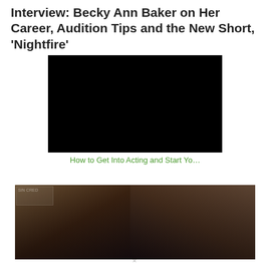Interview: Becky Ann Baker on Her Career, Audition Tips and the New Short, 'Nightfire'
[Figure (other): Black video player embed area]
How to Get Into Acting and Start Yo...
[Figure (photo): Photo of two women with dark hair, appearing to be actresses, in front of a store background]